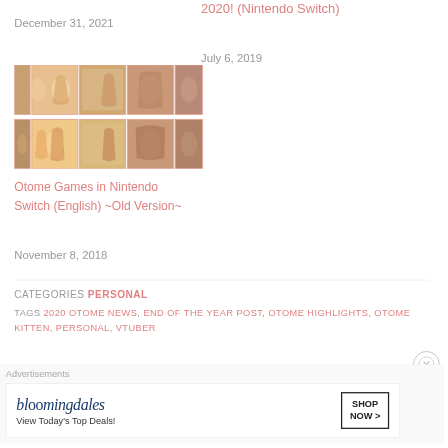December 31, 2021
2020! (Nintendo Switch)
July 6, 2019
[Figure (photo): Grid of anime game cover art thumbnails for Otome Games on Nintendo Switch]
Otome Games in Nintendo Switch (English) ~Old Version~
November 8, 2018
CATEGORIES PERSONAL
TAGS 2020 OTOME NEWS, END OF THE YEAR POST, OTOME HIGHLIGHTS, OTOME KITTEN, PERSONAL, VTUBER
[Figure (screenshot): Bloomingdale's advertisement banner - View Today's Top Deals! SHOP NOW >]